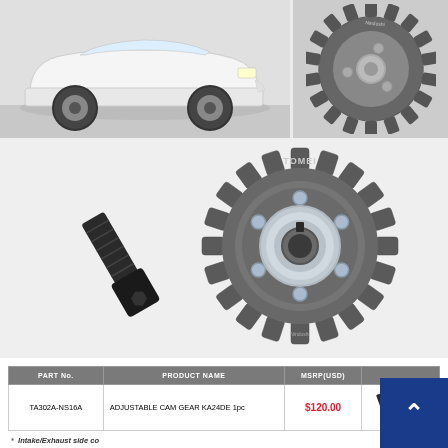[Figure (photo): White Nissan Silvia S14 sports car (top-left) and small dark sprocket/cam gear (top-right), with large Tomei adjustable cam gear sprocket and black hex bolt in the main center area]
| PART No. | PRODUCT NAME | MSRP(USD) |  |
| --- | --- | --- | --- |
| TA302A-NS16A | ADJUSTABLE CAM GEAR KA24DE 1pc | $120.00 |  |
* Intake/Exhaust side co